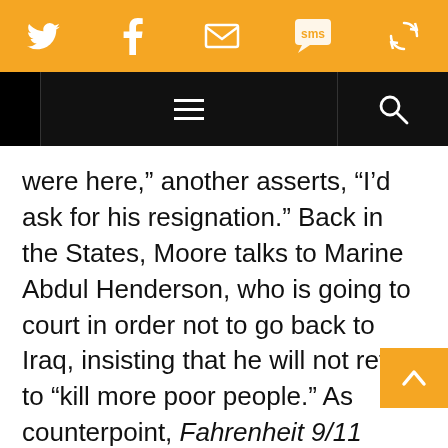[Figure (screenshot): Orange social sharing toolbar with Twitter, Facebook, Email, SMS, and another icon in white on orange background]
[Figure (screenshot): Black navigation bar with hamburger menu icon centered and search icon on the right]
were here,” another asserts, “I’d ask for his resignation.” Back in the States, Moore talks to Marine Abdul Henderson, who is going to court in order not to go back to Iraq, insisting that he will not return to “kill more poor people.” As counterpoint, Fahrenheit 9/11 follows a couple of full dress Marine recruiters around a shopping mall, specifically selected, the film argues, because it is not upscale, and the young people in it will be looking for “career” options: one hiphop-looking kid...